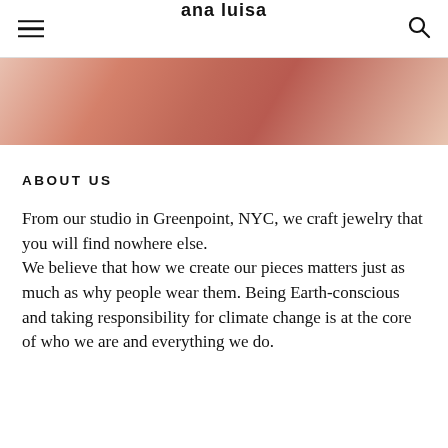ana luisa
[Figure (photo): Close-up photo of a person wearing a terracotta/rust colored ribbed fabric top, cropped at shoulder level showing skin and fabric texture.]
ABOUT US
From our studio in Greenpoint, NYC, we craft jewelry that you will find nowhere else.
We believe that how we create our pieces matters just as much as why people wear them. Being Earth-conscious and taking responsibility for climate change is at the core of who we are and everything we do.